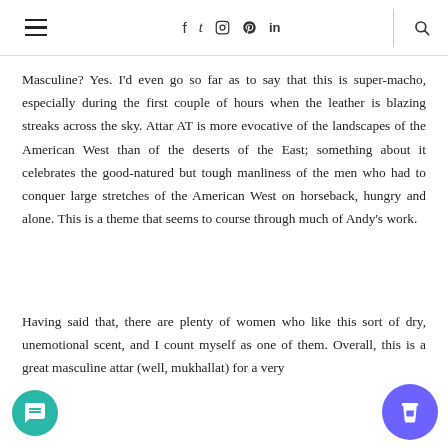≡  f  t  ☷  ⊕  in  |  🔍
Masculine?  Yes.  I'd even go so far as to say that this is super-macho, especially during the first couple of hours when the leather is blazing streaks across the sky.  Attar AT is more evocative of the landscapes of the American West than of the deserts of the East; something about it celebrates the good-natured but tough manliness of the men who had to conquer large stretches of the American West on horseback, hungry and alone.  This is a theme that seems to course through much of Andy's work.
Having said that, there are plenty of women who like this sort of dry, unemotional scent, and I count myself as one of them.  Overall, this is a great masculine attar (well, mukhallat) for a very